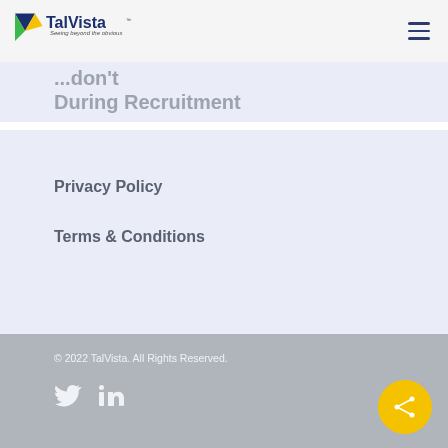TalVista - Seeing beyond the obvious
During Recruitment
Privacy Policy
Terms & Conditions
© 2022 TalVista. All Rights Reserved.